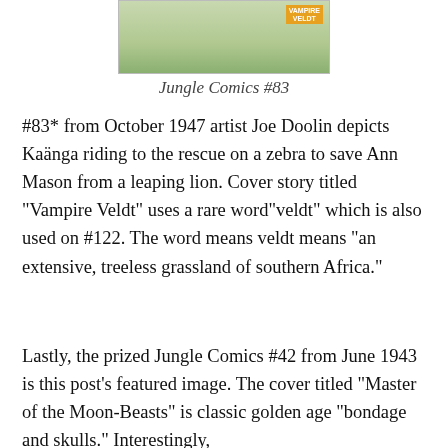[Figure (photo): Partial comic book cover image of Jungle Comics #83 showing a leopard and characters, with a badge reading 'VAMPIRE VELDT']
Jungle Comics #83
#83* from October 1947 artist Joe Doolin depicts Kaänga riding to the rescue on a zebra to save Ann Mason from a leaping lion.  Cover story titled “Vampire Veldt” uses a rare word”veldt” which is also used on #122.  The word means veldt means “an extensive, treeless grassland of southern Africa.”
Lastly, the prized Jungle Comics #42 from June 1943 is  this post’s featured image.  The cover titled “Master of the Moon-Beasts” is classic golden age “bondage and skulls.”  Interestingly,